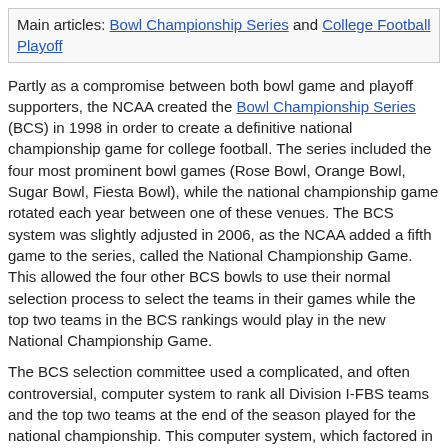Main articles: Bowl Championship Series and College Football Playoff
Partly as a compromise between both bowl game and playoff supporters, the NCAA created the Bowl Championship Series (BCS) in 1998 in order to create a definitive national championship game for college football. The series included the four most prominent bowl games (Rose Bowl, Orange Bowl, Sugar Bowl, Fiesta Bowl), while the national championship game rotated each year between one of these venues. The BCS system was slightly adjusted in 2006, as the NCAA added a fifth game to the series, called the National Championship Game. This allowed the four other BCS bowls to use their normal selection process to select the teams in their games while the top two teams in the BCS rankings would play in the new National Championship Game.
The BCS selection committee used a complicated, and often controversial, computer system to rank all Division I-FBS teams and the top two teams at the end of the season played for the national championship. This computer system, which factored in newspaper polls, online polls, coaches' polls, strength of schedule, and various other factors of a team's season, led to much dispute over whether the two best teams in the country were being selected to play in the National Championship Game.